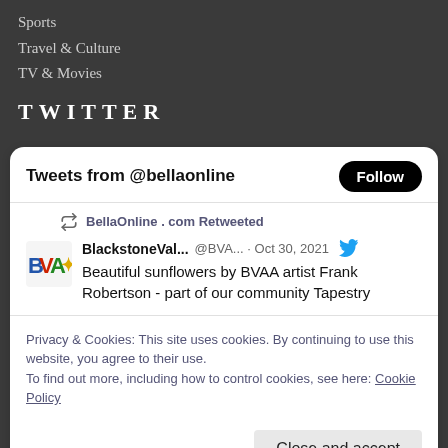Sports
Travel & Culture
TV & Movies
TWITTER
Tweets from @bellaonline
BellaOnline . com Retweeted
BlackstoneVal... @BVA... · Oct 30, 2021  Beautiful sunflowers by BVAA artist Frank Robertson - part of our community Tapestry
Privacy & Cookies: This site uses cookies. By continuing to use this website, you agree to their use.
To find out more, including how to control cookies, see here: Cookie Policy
Close and accept